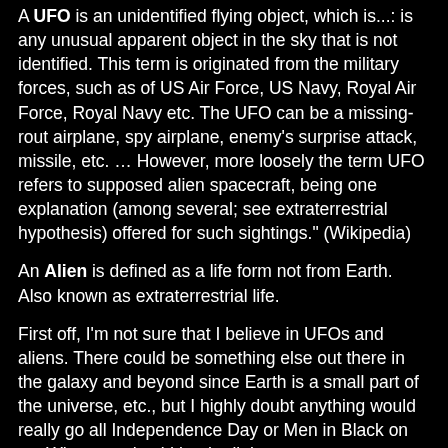A UFO is an unidentified flying object, which is...: is any unusual apparent object in the sky that is not identified. This term is originated from the military forces, such as of US Air Force, US Navy, Royal Air Force, Royal Navy etc. The UFO can be a missing-rout airplane, spy airplane, enemy's surprise attack, missile, etc. … However, more loosely the term UFO refers to supposed alien spacecraft, being one explanation (among several; see extraterrestrial hypothesis) offered for such sightings." (Wikipedia)
An Alien is defined as a life form not from Earth. Also known as extraterrestrial life.
First off, I'm not sure that I believe in UFOs and aliens. There could be something else out there in the galaxy and beyond since Earth is a small part of the universe, etc., but I highly doubt anything would really go all Independence Day or Men in Black on us. Who says they'd be the little